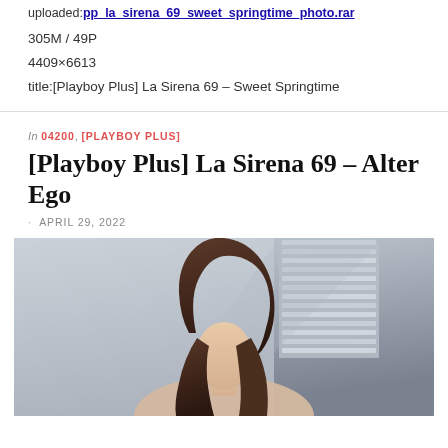uploaded: pp_la_sirena_69_sweet_springtime_photo.rar
305M / 49P
4409×6613
title:[Playboy Plus] La Sirena 69 – Sweet Springtime
In 04200, [PLAYBOY PLUS]
[Playboy Plus] La Sirena 69 – Alter Ego
· APRIL 29, 2022
[Figure (photo): Portrait photo of a woman with dark hair, standing in front of a window with horizontal blinds. Light background with muted blue-grey tones.]